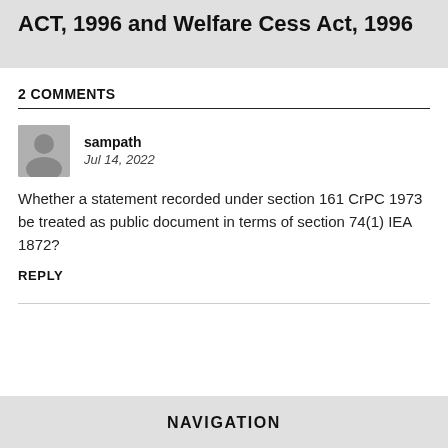specifically provided under BOCW ACT, 1996 and Welfare Cess Act, 1996
2 COMMENTS
sampath
Jul 14, 2022
Whether a statement recorded under section 161 CrPC 1973 be treated as public document in terms of section 74(1) IEA 1872?
REPLY
NAVIGATION